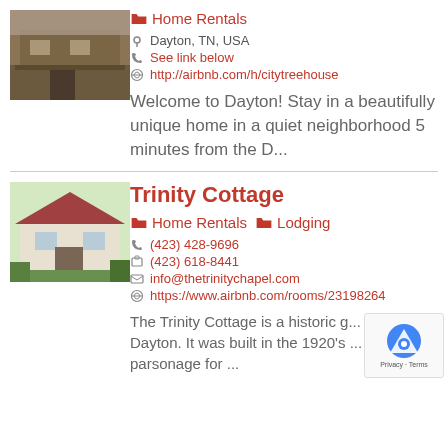[Figure (photo): Photo of a house/home exterior, top listing]
Home Rentals
Dayton, TN, USA
See link below
http://airbnb.com/h/citytreehouse
Welcome to Dayton! Stay in a beautifully unique home in a quiet neighborhood 5 minutes from the D...
[Figure (photo): Photo of Trinity Cottage house exterior]
Trinity Cottage
Home Rentals  Lodging
(423) 428-9696
(423) 618-8441
info@thetrinitychapel.com
https://www.airbnb.com/rooms/23198264
The Trinity Cottage is a historic g... Dayton. It was built in the 1920's ... parsonage for ...